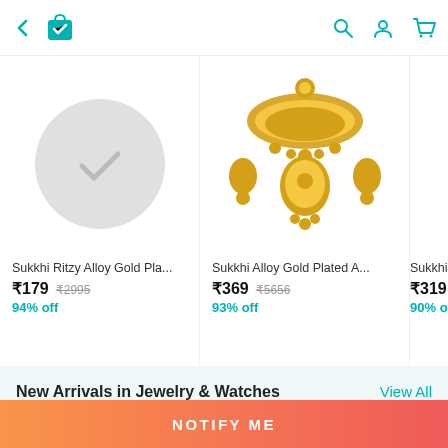[Figure (screenshot): Mobile app navigation bar with back arrow, shopping bag icon with checkmark, search icon, user/profile icon, cart icon — all in teal color]
[Figure (photo): Product placeholder grey circle with checkmark icon for Sukkhi Ritzy Alloy Gold Pla...]
Sukkhi Ritzy Alloy Gold Pla...
₹179  ₹2995
94% off
[Figure (photo): Gold plated Indian bridal jewelry set including necklace, earrings and tikka — Sukkhi Alloy Gold Plated A...]
Sukkhi Alloy Gold Plated A...
₹369  ₹5656
93% off
[Figure (photo): Silver/diamond style jewelry set partially visible — Sukkhi Alloy G]
Sukkhi Alloy G
₹319  ₹3300
90% off
New Arrivals in Jewelry & Watches
108785 products
View All
NOTIFY ME